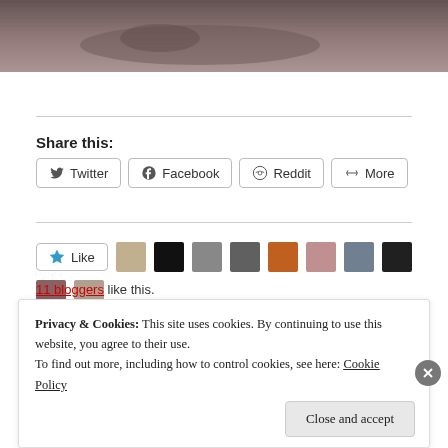[Figure (photo): Sepia-toned photo strip showing what appears to be a dog lying on a surface, partial view at the top of the page]
Share this:
Twitter  Facebook  Reddit  More
Like
11 bloggers like this.
Privacy & Cookies: This site uses cookies. By continuing to use this website, you agree to their use. To find out more, including how to control cookies, see here: Cookie Policy
Close and accept